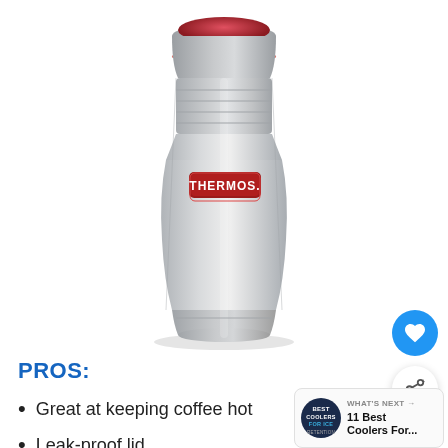[Figure (photo): A stainless steel Thermos travel mug with a red interior lid, silver body, and red Thermos brand logo badge on the front.]
PROS:
Great at keeping coffee hot
Leak-proof lid
[Figure (infographic): WHAT'S NEXT → promotional box: 11 Best Coolers For... with a circular badge showing BEST COOLERS FOR ICE text]